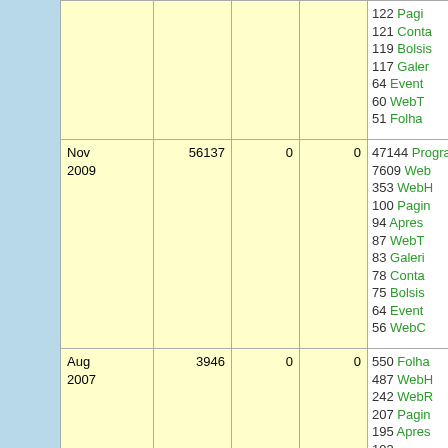| Date | Col2 | Col3 | Col4 | Details |
| --- | --- | --- | --- | --- |
|  |  |  |  | 122 Pagi...
121 Conta...
119 Bolsis...
117 Galer...
64 Event...
60 WebT...
51 Folha... |
| Nov 2009 | 56137 | 0 | 0 | 47144 Programa...
7609 Web...
353 WebH...
100 Pagin...
94 Apres...
87 WebT...
83 Galeri...
78 Conta...
75 Bolsis...
64 Event...
56 WebC... |
| Aug 2007 | 3946 | 0 | 0 | 550 Folha...
487 WebH...
242 WebR...
207 Pagin...
195 Apres...
193 Programa...
166 Layo... |